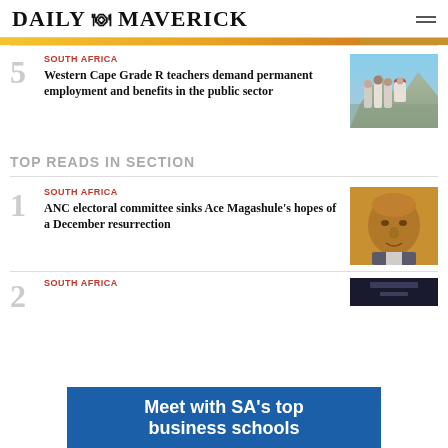DAILY MAVERICK
5 SOUTH AFRICA — Western Cape Grade R teachers demand permanent employment and benefits in the public sector
TOP READS IN SECTION
1 SOUTH AFRICA — ANC electoral committee sinks Ace Magashule's hopes of a December resurrection
2 SOUTH AFRICA
Meet with SA's top business schools